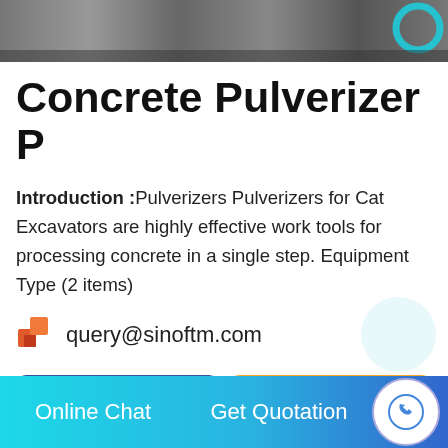[Figure (photo): Close-up photo of a concrete pulverizer attachment, dark metallic machinery with teal/blue ring visible]
Concrete Pulverizer P
Introduction :Pulverizers Pulverizers for Cat Excavators are highly effective work tools for processing concrete in a single step. Equipment Type (2 items)
query@sinoftm.com
Send Message
Get a Quote
Online Chat   Get Quotation